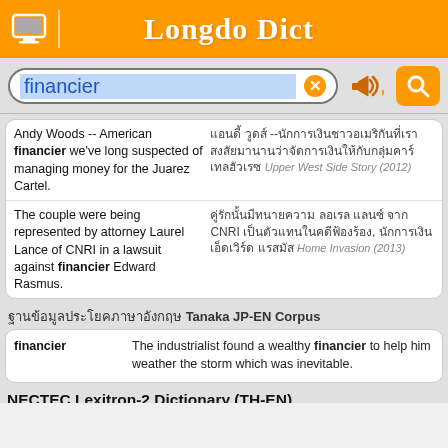Longdo Dict
financier (search input)
| English | Thai |
| --- | --- |
| Andy Woods -- American financier we've long suspected of managing money for the Juarez Cartel. | Thai text -- Thai text Upper West Side Story (2012) |
| The couple were being represented by attorney Laurel Lance of CNRI in a lawsuit against financier Edward Rasmus. | Thai text CNRI Thai text Home Invasion (2013) |
Thai text Tanaka JP-EN Corpus
| Term | Definition |
| --- | --- |
| financier | The industrialist found a wealthy financier to help him weather the storm which was inevitable. |
NECTEC Lexitron-2 Dictionary (TH-EN)
| Thai term | Definition |
| --- | --- |
| Thai word | (n) creditor, See also: financier, usurer, Syn. Thai word |